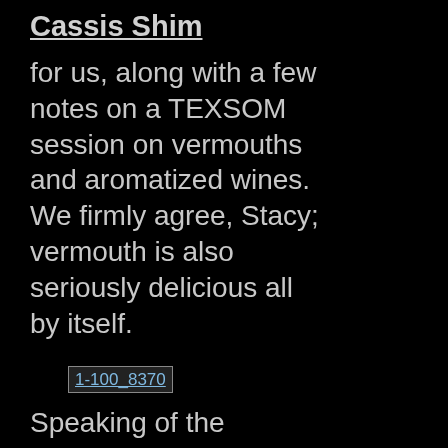Cassis Shim
for us, along with a few notes on a TEXSOM session on vermouths and aromatized wines. We firmly agree, Stacy; vermouth is also seriously delicious all by itself.
[Figure (other): Small thumbnail image labeled 1-100_8370]
Speaking of the pleasures of vermouth, Swizzlestick;